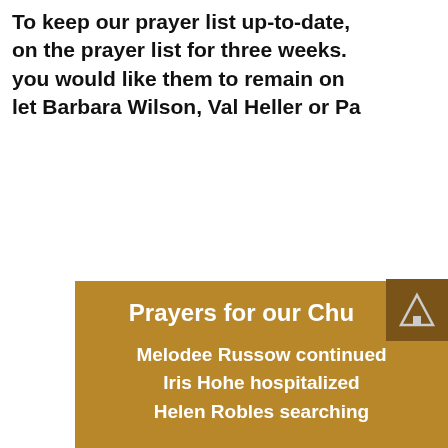To keep our prayer list up-to-date, names will remain on the prayer list for three weeks. If you would like them to remain on the list, let Barbara Wilson, Val Heller or Pa...
Prayers for our Chu...
Melodee Russow continued...
Iris Hohe hospitalized...
Helen Robles searching...